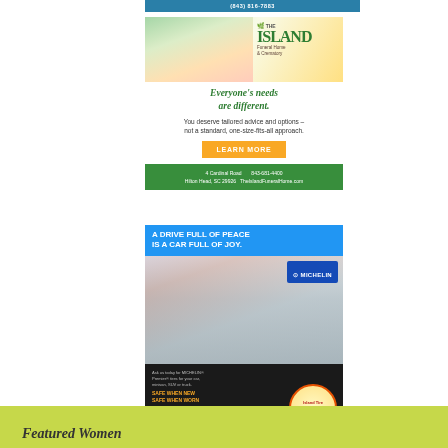[Figure (advertisement): Top bar with phone number (843) 816-7883 on teal background]
[Figure (advertisement): Island Funeral Home & Crematory ad. Shows elderly couple with children outdoors. Tagline: Everyone's needs are different. You deserve tailored advice and options – not a standard, one-size-fits-all approach. LEARN MORE button. Address: 4 Cardinal Road, Hilton Head, SC 29926. Phone: 843-681-4400. Website: TheIslandFuneralHome.com]
[Figure (advertisement): Michelin/Island Tire ad. Header: A DRIVE FULL OF PEACE IS A CAR FULL OF JOY. Shows three happy children in a car. Michelin logo. Text about tires. SAFE WHEN NEW / SAFE WHEN WORN. CLICK HERE TO LEARN MORE! Island Tire & Automotive Services logo.]
Featured Women